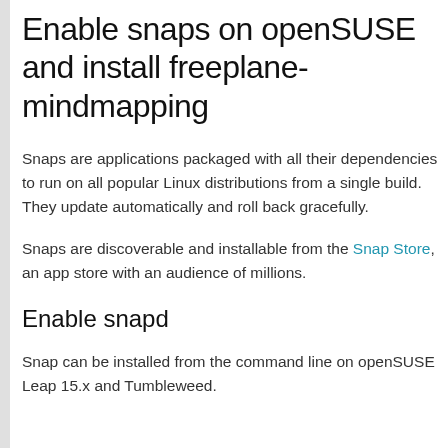Enable snaps on openSUSE and install freeplane-mindmapping
Snaps are applications packaged with all their dependencies to run on all popular Linux distributions from a single build. They update automatically and roll back gracefully.
Snaps are discoverable and installable from the Snap Store, an app store with an audience of millions.
Enable snapd
Snap can be installed from the command line on openSUSE Leap 15.x and Tumbleweed.